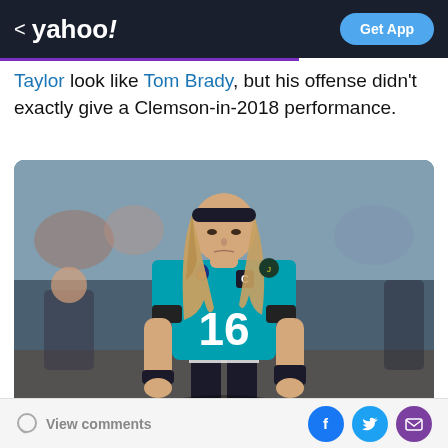< yahoo!  Get App
Taylor look like Tom Brady, but his offense didn't exactly give a Clemson-in-2018 performance.
[Figure (photo): NFL player wearing Jacksonville Jaguars teal jersey number 16 with a C captain patch, long hair, black headband, looking down on a football field sideline]
View comments